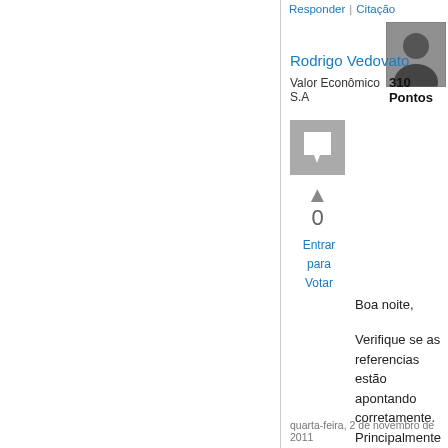Responder | Citação
Rodrigo Vedovato
Valor Econômico S.A    310 Pontos
[Figure (other): Comment icon square with speech bubble]
▲
0
Entrar para Votar
Boa noite,

Verifique se as referencias estão apontando corretamente. Principalmente a WindowsBase.
quarta-feira, 2 de novembro de 2011